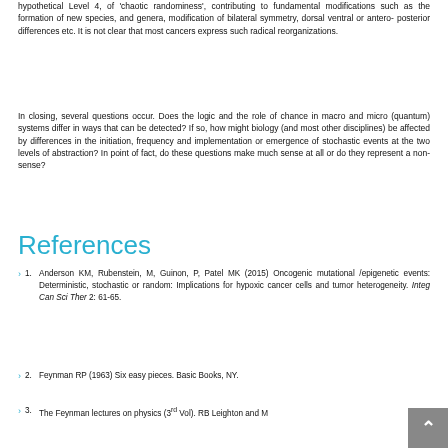hypothetical Level 4, of 'chaotic randominess', contributing to fundamental modifications such as the formation of new species, and genera, modification of bilateral symmetry, dorsal ventral or antero- posterior differences etc. It is not clear that most cancers express such radical reorganizations.
In closing, several questions occur. Does the logic and the role of chance in macro and micro (quantum) systems differ in ways that can be detected? If so, how might biology (and most other disciplines) be affected by differences in the initiation, frequency and implementation or emergence of stochastic events at the two levels of abstraction? In point of fact, do these questions make much sense at all or do they represent a non-sense?
References
1. Anderson KM, Rubenstein, M, Guinon, P, Patel MK (2015) Oncogenic mutational /epigenetic events: Deterministic, stochastic or random: Implications for hypoxic cancer cells and tumor heterogeneity. Integ Can Sci Ther 2: 61-65.
2. Feynman RP (1963) Six easy pieces. Basic Books, NY.
3. The Feynman lectures on physics (3rd Vol). RB Leighton and M